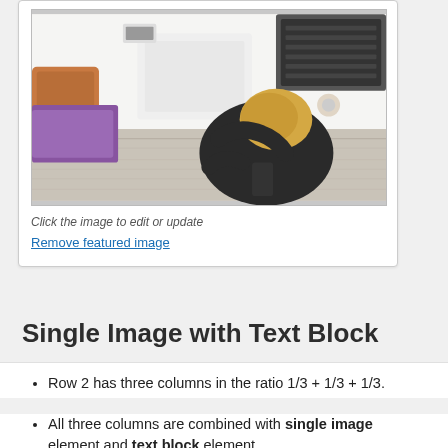[Figure (photo): Overhead view of a person with blonde hair working at a white desk with a laptop, coffee cup, and various items scattered around]
Click the image to edit or update
Remove featured image
Single Image with Text Block
Row 2 has three columns in the ratio 1/3 + 1/3 + 1/3.
All three columns are combined with single image element and text block element.